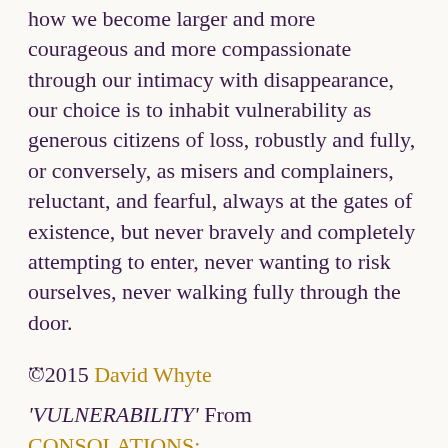how we become larger and more courageous and more compassionate through our intimacy with disappearance, our choice is to inhabit vulnerability as generous citizens of loss, robustly and fully, or conversely, as misers and complainers, reluctant, and fearful, always at the gates of existence, but never bravely and completely attempting to enter, never wanting to risk ourselves, never walking fully through the door.
...
©2015 David Whyte
'VULNERABILITY' From CONSOLATIONS: